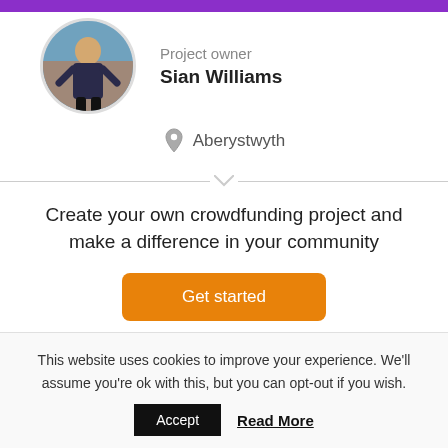[Figure (photo): Purple decorative bar at top of page]
[Figure (photo): Circular profile photo of Sian Williams, a woman in a dark outfit standing indoors]
Project owner
Sian Williams
Aberystwyth
Create your own crowdfunding project and make a difference in your community
Get started
This website uses cookies to improve your experience. We'll assume you're ok with this, but you can opt-out if you wish.
Accept
Read More